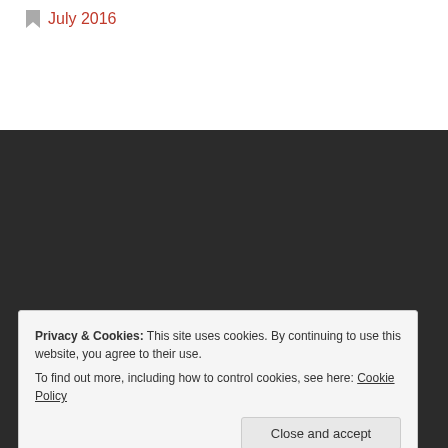July 2016
Follow Us
Privacy & Cookies: This site uses cookies. By continuing to use this website, you agree to their use.
To find out more, including how to control cookies, see here: Cookie Policy